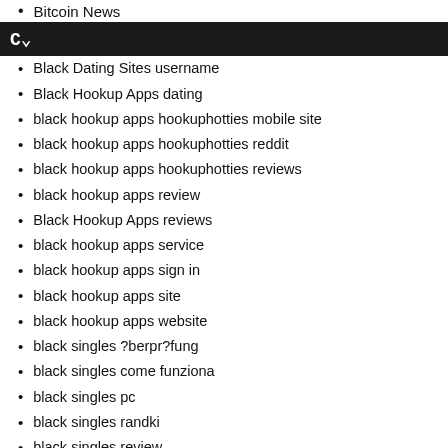Bitcoin News
Black Dating Sites username
Black Hookup Apps dating
black hookup apps hookuphotties mobile site
black hookup apps hookuphotties reddit
black hookup apps hookuphotties reviews
black hookup apps review
Black Hookup Apps reviews
black hookup apps service
black hookup apps sign in
black hookup apps site
black hookup apps website
black singles ?berpr?fung
black singles come funziona
black singles pc
black singles randki
black singles review
black singles sign in
Black Singles visitors
black-dating-cs Reddit
blackchristianpeoplemeet avis
blackchristianpeoplemeet de review
blackchristianpeoplemeet fr review